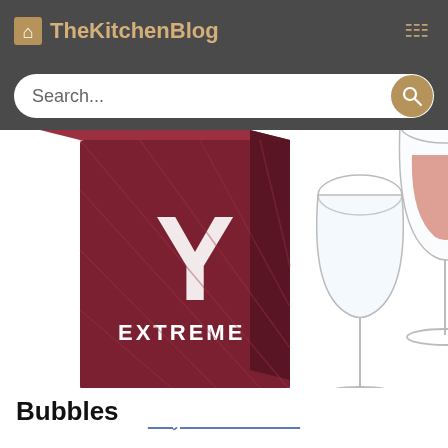TheKitchenBlog
[Figure (screenshot): Search bar with placeholder text 'Search...' on a dark grey background with a rounded search input and a tan/gold search button icon]
[Figure (photo): Product photo showing wine glasses and a box labeled 'Y EXTREME' on a white background]
Buy Now: £47.00
Bubbles
Whether it is champagne, Prosecco or Cava serving up bubbles at party is majorly predetermined by the glass you serve it in. Bubbles should be served in flutes, tall thin glasses, this helps them stay chilled and capture the carbon dioxide so stays fizzy for longer. The more on the glass the...